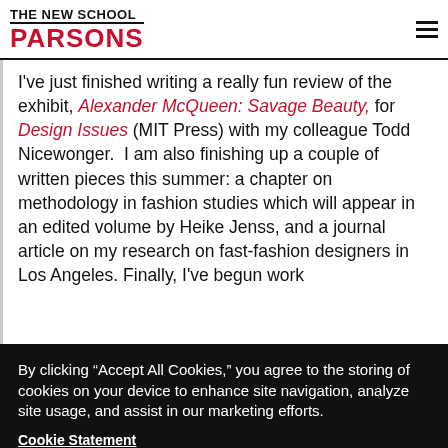THE NEW SCHOOL PARSONS
I've just finished writing a really fun review of the exhibit, Alexander McQueen: Savage Beauty, for Design Issues (MIT Press) with my colleague Todd Nicewonger.  I am also finishing up a couple of written pieces this summer: a chapter on methodology in fashion studies which will appear in an edited volume by Heike Jenss, and a journal article on my research on fast-fashion designers in Los Angeles. Finally, I've begun work
By clicking “Accept All Cookies,” you agree to the storing of cookies on your device to enhance site navigation, analyze site usage, and assist in our marketing efforts.
Cookie Statement
Customize Settings
Accept All Cookies